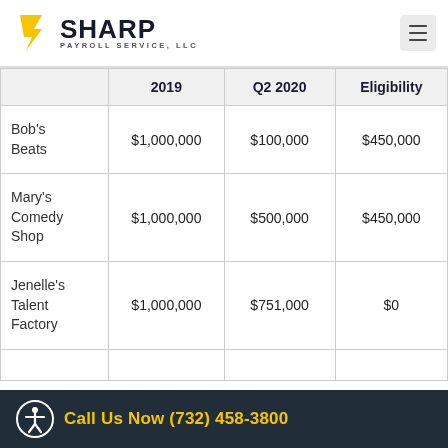[Figure (logo): Sharp Payroll Service, LLC logo with yellow lightning bolt S and dark bold SHARP text]
|  | 2019 | Q2 2020 | Eligibility |
| --- | --- | --- | --- |
| Bob's Beats | $1,000,000 | $100,000 | $450,000 |
| Mary's Comedy Shop | $1,000,000 | $500,000 | $450,000 |
| Jenelle's Talent Factory | $1,000,000 | $751,000 | $0 |
|  |  |  |  |
Call Us Now (732) 458-3800